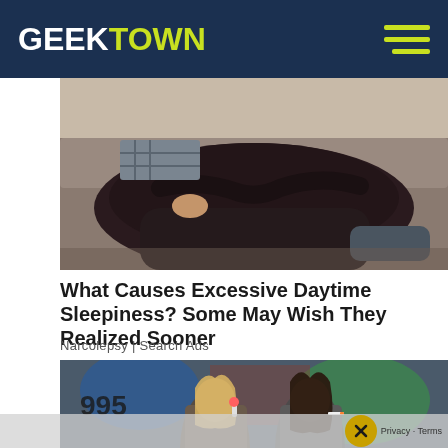GEEKTOWN
[Figure (photo): Person sleeping on a couch/sofa, wearing a dark hoodie, arms crossed, viewed from above]
What Causes Excessive Daytime Sleepiness? Some May Wish They Realized Sooner
Narcolepsy | Search Ads
[Figure (photo): Two young women standing in front of a colorful graffiti mural, one eating, one smoking]